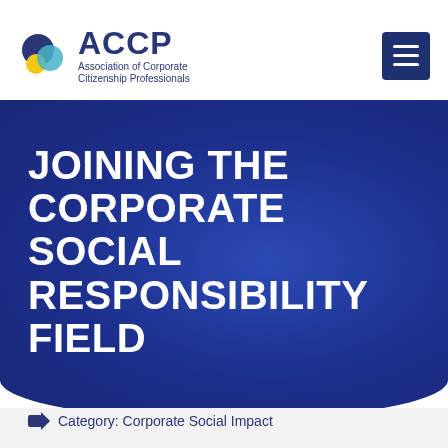[Figure (logo): ACCP logo with circular icon and text 'ACCP Association of Corporate Citizenship Professionals']
JOINING THE CORPORATE SOCIAL RESPONSIBILITY FIELD
Category: Corporate Social Impact